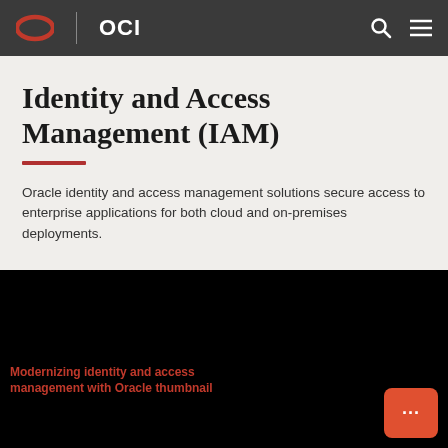OCI
Identity and Access Management (IAM)
Oracle identity and access management solutions secure access to enterprise applications for both cloud and on-premises deployments.
[Figure (screenshot): Black video thumbnail area with text overlay reading 'Modernizing identity and access management with Oracle thumbnail' and an orange chat button in bottom right corner]